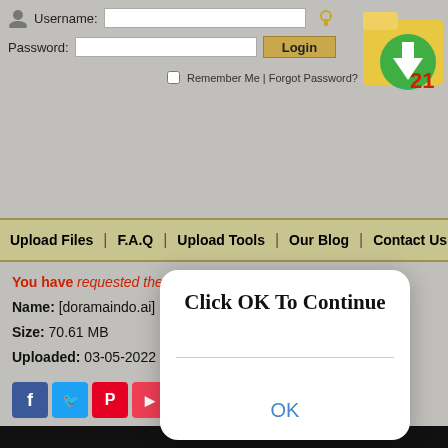[Figure (screenshot): Website header with username/password login fields, login button, remember me checkbox, and a zip file logo in the top right corner]
Username:
Password:
Remember Me | Forgot Password?
[Figure (logo): Zip file download logo with red '21' text and green arrow]
Upload Files | F.A.Q | Upload Tools | Our Blog | Contact Us
[Figure (screenshot): Modal dialog box with white rounded rectangle background showing 'Click OK To Continue' text and an OK button]
Click OK To Continue
OK
You have requested the file:
Name: [doramaindo.ai] My Family - 03 [360p].mp4
Size: 70.61 MB
Uploaded: 03-05-2022 06:12
[Figure (screenshot): Social sharing icons row: Facebook, Twitter, Pinterest, Pocket, Reddit, Email, and Share more button]
[Figure (screenshot): Black video player area at bottom of page]